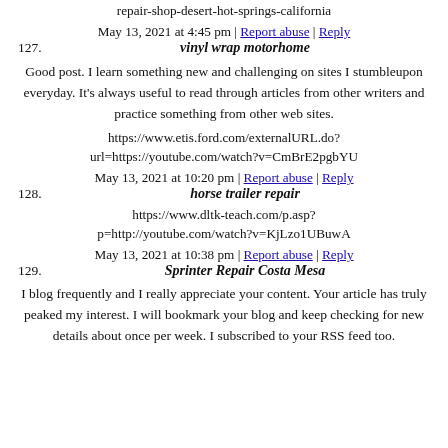repair-shop-desert-hot-springs-california
May 13, 2021 at 4:45 pm | Report abuse | Reply
127. vinyl wrap motorhome
Good post. I learn something new and challenging on sites I stumbleupon everyday. It's always useful to read through articles from other writers and practice something from other web sites.
https://www.etis.ford.com/externalURL.do?url=https://youtube.com/watch?v=CmBrE2pgbYU
May 13, 2021 at 10:20 pm | Report abuse | Reply
128. horse trailer repair
https://www.dltk-teach.com/p.asp?p=http://youtube.com/watch?v=KjLzo1UBuwA
May 13, 2021 at 10:38 pm | Report abuse | Reply
129. Sprinter Repair Costa Mesa
I blog frequently and I really appreciate your content. Your article has truly peaked my interest. I will bookmark your blog and keep checking for new details about once per week. I subscribed to your RSS feed too.